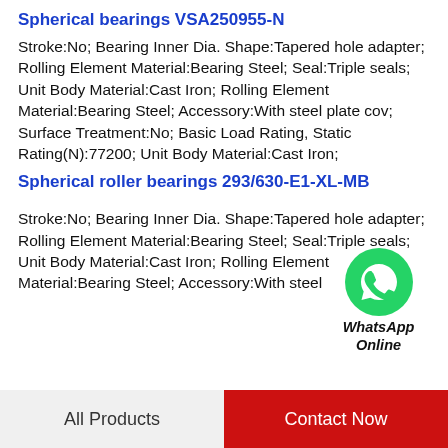Spherical bearings VSA250955-N
Stroke:No; Bearing Inner Dia. Shape:Tapered hole adapter; Rolling Element Material:Bearing Steel; Seal:Triple seals; Unit Body Material:Cast Iron; Rolling Element Material:Bearing Steel; Accessory:With steel plate cov; Surface Treatment:No; Basic Load Rating, Static Rating(N):77200; Unit Body Material:Cast Iron;
Spherical roller bearings 293/630-E1-XL-MB
[Figure (other): WhatsApp Online chat button with green WhatsApp logo circle and text 'WhatsApp Online']
Stroke:No; Bearing Inner Dia. Shape:Tapered hole adapter; Rolling Element Material:Bearing Steel; Seal:Triple seals; Unit Body Material:Cast Iron; Rolling Element Material:Bearing Steel; Accessory:With steel
All Products    Contact Now